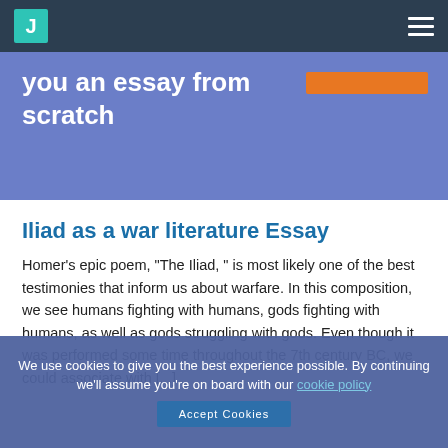J [logo]
you an essay from scratch
Iliad as a war literature Essay
Homer’s epic poem, “The Iliad, ” is most likely one of the best testimonies that inform us about warfare. In this composition, we see humans fighting with humans, gods fighting with humans, as well as gods struggling with gods. Even though it was performed some time throughout the 7th century BC, we could associate with [...]
We use cookies to give you the best experience possible. By continuing we’ll assume you’re on board with our cookie policy Accept Cookies